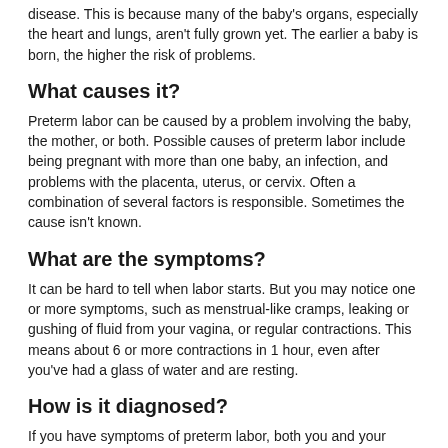disease. This is because many of the baby's organs, especially the heart and lungs, aren't fully grown yet. The earlier a baby is born, the higher the risk of problems.
What causes it?
Preterm labor can be caused by a problem involving the baby, the mother, or both. Possible causes of preterm labor include being pregnant with more than one baby, an infection, and problems with the placenta, uterus, or cervix. Often a combination of several factors is responsible. Sometimes the cause isn't known.
What are the symptoms?
It can be hard to tell when labor starts. But you may notice one or more symptoms, such as menstrual-like cramps, leaking or gushing of fluid from your vagina, or regular contractions. This means about 6 or more contractions in 1 hour, even after you've had a glass of water and are resting.
How is it diagnosed?
If you have symptoms of preterm labor, both you and your baby will be examined and monitored. You may have urine and blood tests to check for problems that can cause preterm labor. Your doctor or midwife will check the baby's heartbeat and do an ultrasound to see how your baby is doing.